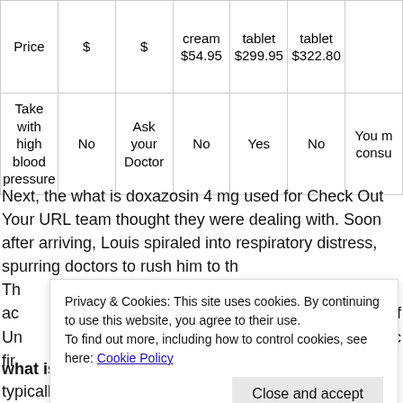| Price | $ | $ | cream
$54.95 | tablet
$299.95 | tablet
$322.80 |  |
| Take with high blood pressure | No | Ask your Doctor | No | Yes | No | You must consult |
Next, the what is doxazosin 4 mg used for Check Out Your URL team thought they were dealing with. Soon after arriving, Louis spiraled into respiratory distress, spurring doctors to rush him to th... Th... ac... of Un... c... fir...
Privacy & Cookies: This site uses cookies. By continuing to use this website, you agree to their use.
To find out more, including how to control cookies, see here: Cookie Policy
what is doxazosin 4 mg used for mouth or nose is typically